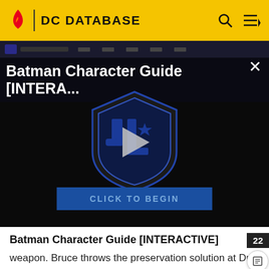DC DATABASE
[Figure (screenshot): Video player showing Batman Character Guide [INTERA...] with a Justice League shield logo, play button, and 'CLICK TO BEGIN' button on dark background]
Batman Character Guide [INTERACTIVE]
weapon. Bruce throws the preservation solution at Dr. Seltsam, causing the cables to electrify him. The building crumbles and the Bat-Man holds it up while the others